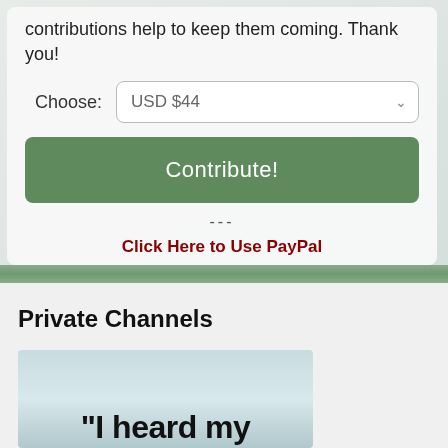contributions help to keep them coming. Thank you!
Choose: USD $44
Contribute!
---
Click Here to Use PayPal
Private Channels
[Figure (photo): Thumbnail image with text beginning '"I heard my']